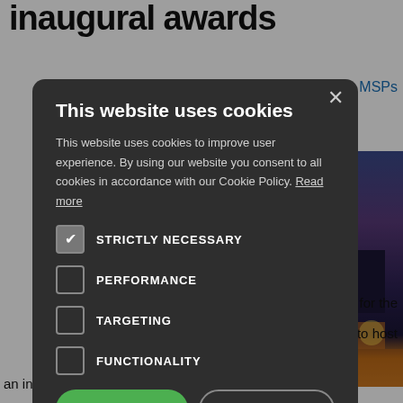inaugural awards
ay   MSPs
[Figure (photo): Night cityscape photo showing illuminated buildings and street lights against a dark blue/purple sky]
[Figure (screenshot): Cookie consent modal dialog with dark background. Title: 'This website uses cookies'. Body text explains cookie usage. Checkboxes for STRICTLY NECESSARY (checked), PERFORMANCE, TARGETING, FUNCTIONALITY. Buttons: ACCEPT ALL (green), DECLINE ALL (outlined). SHOW DETAILS link at bottom.]
for the
ed plans to host
an inaugural Billing People Summit and Awards. The Billing